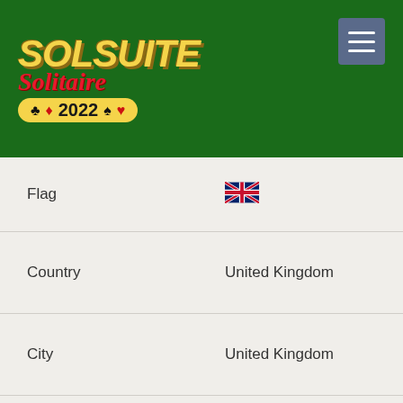[Figure (logo): SolSuite Solitaire 2022 logo on dark green background with menu button]
| Field | Value |
| --- | --- |
| Flag | 🇬🇧 (UK flag) |
| Country | United Kingdom |
| City | United Kingdom |
| Tot. Won | 20 |
| Ver. | 5.8 |
| Date | 1 Dec 00 |
| N. | 18 |